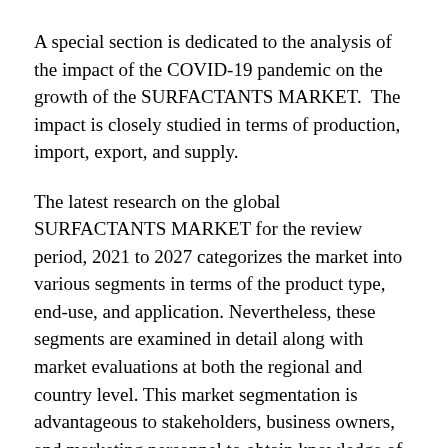A special section is dedicated to the analysis of the impact of the COVID-19 pandemic on the growth of the SURFACTANTS MARKET.  The impact is closely studied in terms of production, import, export, and supply.
The latest research on the global SURFACTANTS MARKET for the review period, 2021 to 2027 categorizes the market into various segments in terms of the product type, end-use, and application. Nevertheless, these segments are examined in detail along with market evaluations at both the regional and country level. This market segmentation is advantageous to stakeholders, business owners, and marketing personnel to obtain knowledge of the growth areas and potential opportunities for the SURFACTANTS MARKET. The market research report further includes the competitive insights of the market across the various region.